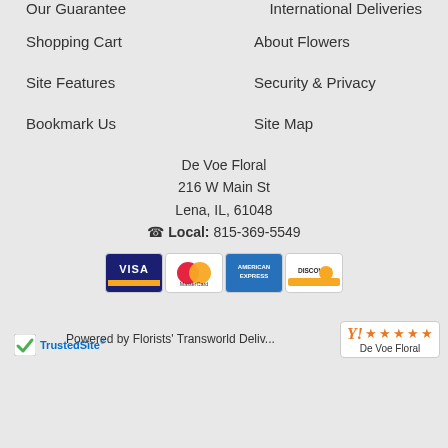Our Guarantee
International Deliveries
Shopping Cart
About Flowers
Site Features
Security & Privacy
Bookmark Us
Site Map
De Voe Floral
216 W Main St
Lena, IL, 61048
☎ Local: 815-369-5549
[Figure (logo): Payment method icons: Visa, MasterCard, American Express, Discover]
Powered by Florists' Transworld Deli...
[Figure (logo): TrustedSite badge with green checkmark]
[Figure (infographic): 5-star rating box for De Voe Floral with orange stars]